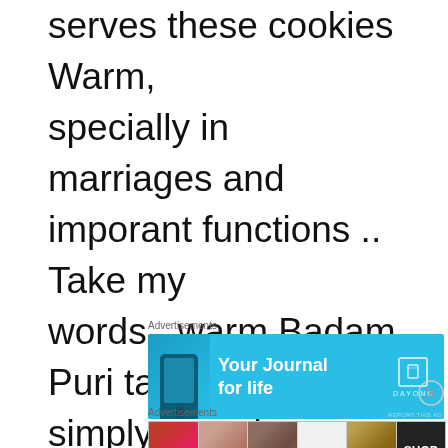serves these cookies Warm, specially in marriages and imporant functions .. Take my words , warm Badam Puri tastes simply amazing ...
[Figure (screenshot): Advertisement banner for Day One journal app with blue background, phone image on left, 'Your Journal for life' text in center, Day One logo/icon on right]
[Figure (screenshot): Advertisement banner for Ulta Beauty showing makeup product collage: red lips, makeup brush, eye closeup, Ulta logo, eye makeup, and Shop Now call to action]